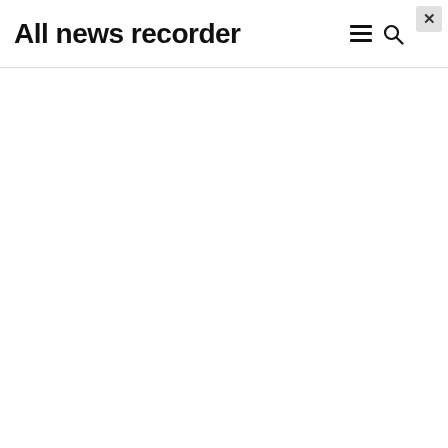All news recorder
[Figure (screenshot): Website header/navigation bar with logo text 'All news recorder', hamburger menu icon, search icon, and a close (X) button in top right corner. Below the header is a white empty content area.]